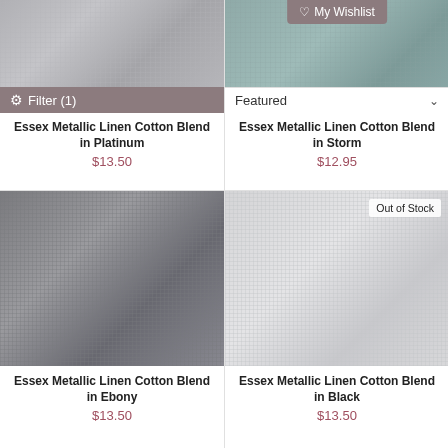[Figure (photo): Essex Metallic Linen Cotton fabric swatch in Platinum color, with filter bar overlay showing Filter (1)]
Essex Metallic Linen Cotton Blend in Platinum
$13.50
[Figure (photo): Essex Metallic Linen Cotton fabric swatch in Storm color, with My Wishlist button and Featured dropdown overlay]
Essex Metallic Linen Cotton Blend in Storm
$12.95
[Figure (photo): Essex Metallic Linen Cotton fabric swatch in Ebony color, dark gray metallic woven texture]
Essex Metallic Linen Cotton Blend in Ebony
$13.50
[Figure (photo): Essex Metallic Linen Cotton fabric swatch in Black color, light gray woven texture, marked Out of Stock]
Essex Metallic Linen Cotton Blend in Black
$13.50